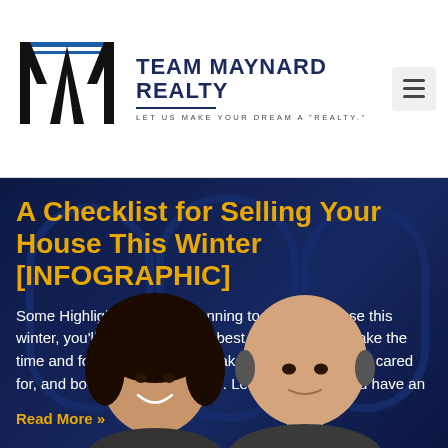[Figure (logo): Team Maynard Realty logo — geometric TM monogram in black with blue horizontal accent lines]
TEAM MAYNARD REALTY
LET US MAKE YOUR DREAM A "REALTY."
A Checklist for Selling Your House This Winter [INFOGRAPHIC]
Some Highlights If you're planning to sell your house this winter, you'll want it to look its best inside and out. Take the time and focus on tasks that make it inviting, show it's cared for, and boost your curb appeal. Let's connect so you have an
Read More »
[Figure (photo): Two real estate agents — a woman with dark curly hair and a bald man — photographed from shoulders up against a dark blue door/building background]